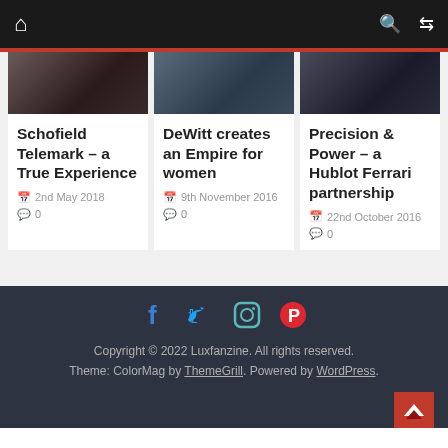Navigation bar with home icon, search and shuffle icons
[Figure (photo): Three dark luxury watch/car images in a row]
Schofield Telemark – a True Experience
2nd May 2018  0
DeWitt creates an Empire for women
9th November 2016  0
Precision & Power – a Hublot Ferrari partnership
22nd October 2016  0
[Figure (illustration): Social media icons: Facebook, Twitter, Instagram, Pinterest]
Copyright © 2022 Luxfanzine. All rights reserved.
Theme: ColorMag by ThemeGrill. Powered by WordPress.